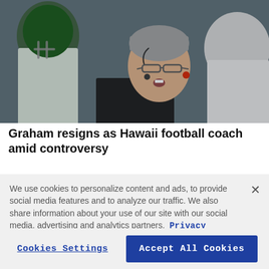[Figure (photo): A football coach with gray hair and glasses, wearing a headset microphone and speaking, surrounded by players and staff on the sideline.]
Graham resigns as Hawaii football coach amid controversy
We use cookies to personalize content and ads, to provide social media features and to analyze our traffic. We also share information about your use of our site with our social media, advertising and analytics partners. Privacy Policy
Cookies Settings | Accept All Cookies